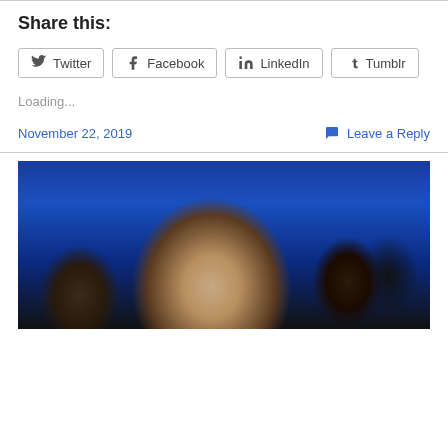Share this:
Twitter
Facebook
LinkedIn
Tumblr
Loading...
November 22, 2019
Leave a Reply
[Figure (photo): Group of people at an event, man with glasses in foreground, blue background lighting]